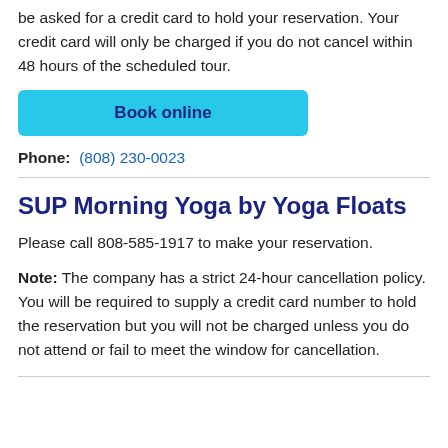be asked for a credit card to hold your reservation. Your credit card will only be charged if you do not cancel within 48 hours of the scheduled tour.
Book online
Phone:  (808) 230-0023
SUP Morning Yoga by Yoga Floats
Please call 808-585-1917 to make your reservation.
Note: The company has a strict 24-hour cancellation policy. You will be required to supply a credit card number to hold the reservation but you will not be charged unless you do not attend or fail to meet the window for cancellation.